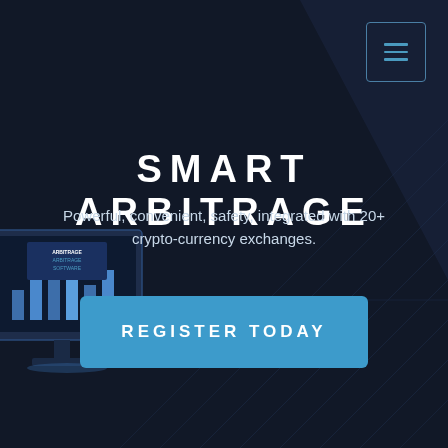[Figure (screenshot): Navigation hamburger menu button icon — three horizontal lines in a rounded square border, teal/blue color, top right corner]
SMART ARBITRAGE
Powerful, convenient, safety, integrated with 20+ crypto-currency exchanges.
[Figure (illustration): Isometric illustration of a desktop computer monitor displaying arbitrage software interface with blue/purple color scheme, partially visible on left side]
REGISTER TODAY